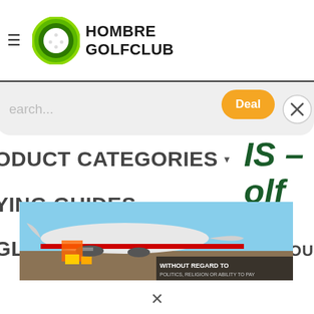[Figure (logo): Hombre GolfClub logo with green circle/golf ball icon and bold black text 'HOMBRE GOLFCLUB']
Search...
Deal
ODUCT CATEGORIES ▾
IS – olf
YING GUIDES ▾
GLE PRODUCTS ▾
VE YOU
[Figure (photo): Advertisement banner showing airplane cargo loading with text 'WITHOUT REGARD TO POLITICS, RELIGION OR ABILITY TO PAY']